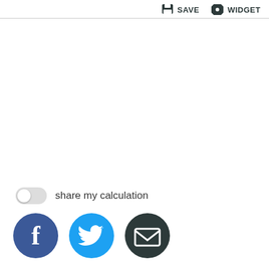SAVE WIDGET
share my calculation
[Figure (illustration): Three social share buttons: Facebook (blue circle with white 'f'), Twitter (cyan circle with white bird), Email (dark circle with white envelope icon)]